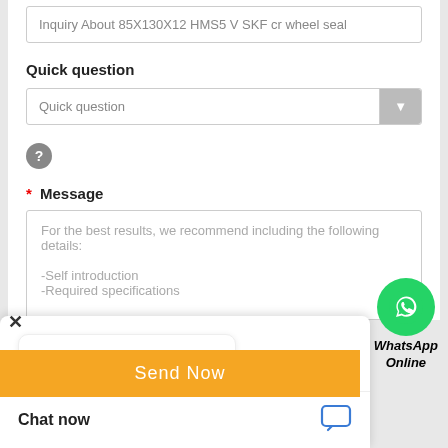Inquiry About 85X130X12 HMS5 V SKF cr wheel seal
Quick question
Quick question
[Figure (screenshot): Grey circle with white question mark icon]
* Message
For the best results, we recommend including the following details:
-Self introduction
-Required specifications
[Figure (logo): WhatsApp green circle logo with phone icon and text 'WhatsApp Online']
Hello, how may I help you?
Send Now
Chat now